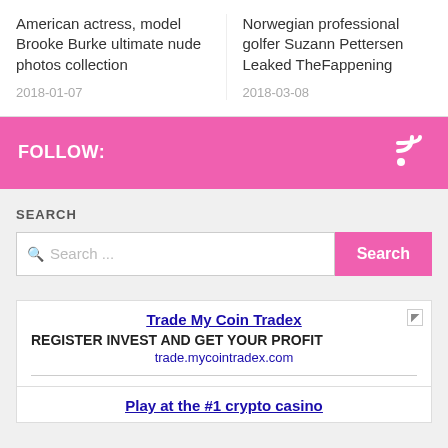American actress, model Brooke Burke ultimate nude photos collection
2018-01-07
Norwegian professional golfer Suzann Pettersen Leaked TheFappening
2018-03-08
FOLLOW:
SEARCH
Search ...
Trade My Coin Tradex
REGISTER INVEST AND GET YOUR PROFIT
trade.mycointradex.com
Play at the #1 crypto casino